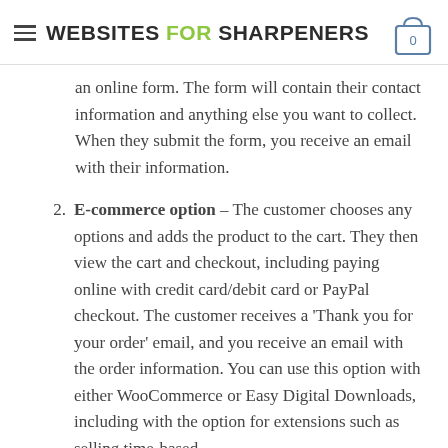WEBSITES FOR SHARPENERS
an online form. The form will contain their contact information and anything else you want to collect. When they submit the form, you receive an email with their information.
2. E-commerce option – The customer chooses any options and adds the product to the cart. They then view the cart and checkout, including paying online with credit card/debit card or PayPal checkout. The customer receives a 'Thank you for your order' email, and you receive an email with the order information. You can use this option with either WooCommerce or Easy Digital Downloads, including with the option for extensions such as selling time-based